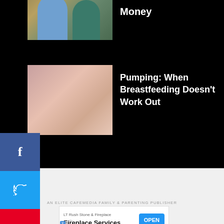[Figure (photo): Partially visible thumbnail image of two people, likely related to a money article]
Money
[Figure (photo): Thumbnail image of breastfeeding pump, pink background]
Pumping: When Breastfeeding Doesn't Work Out
[Figure (other): Social media sidebar with Facebook, Twitter, Pinterest, and Email share buttons]
© 2022 Joyful Messes
^ TOP
AN ELITE CAFEMEDIA FAMILY & PARENTING PUBLISHER
[Figure (other): Advertisement for LT Rush Stone & Fireplace - Fireplace Services with OPEN button]